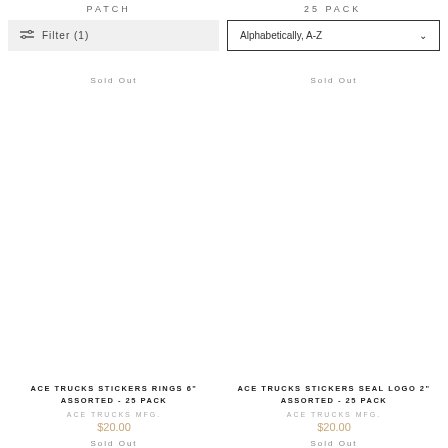PATCH   25 PACK
Filter (1)
Alphabetically, A-Z
Sold Out
Sold Out
[Figure (photo): Empty product image area for Ace Trucks Stickers Rings 6 inch Assorted 25 Pack]
[Figure (photo): Empty product image area for Ace Trucks Stickers Seal Logo 2 inch Assorted 25 Pack]
ACE TRUCKS STICKERS RINGS 6" ASSORTED - 25 PACK
ACE TRUCKS MFG.
$20.00
ACE TRUCKS STICKERS SEAL LOGO 2" ASSORTED - 25 PACK
ACE TRUCKS MFG.
$20.00
Sold Out
Sold Out